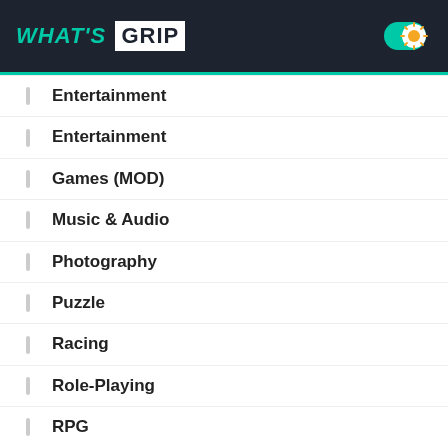WHAT'S GRIP
Entertainment
Entertainment
Games (MOD)
Music & Audio
Photography
Puzzle
Racing
Role-Playing
RPG
Simulation
Social